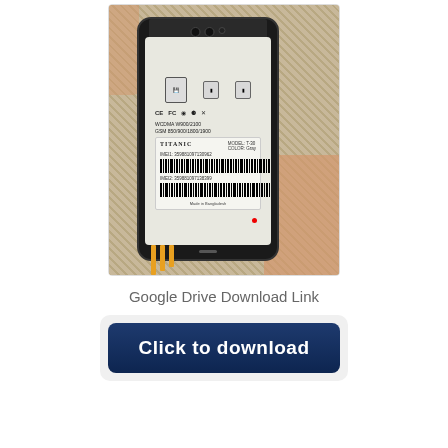[Figure (photo): Photo of the back of a Titanic brand smartphone being held in hand, showing the back panel with regulatory certification marks (CE, FC), WCDMA W900/2100 and GSM 850/900/1800/1900 specs, and a barcode label sticker with IMEI numbers. The phone is placed against a woven mat background.]
Google Drive Download Link
Click to download